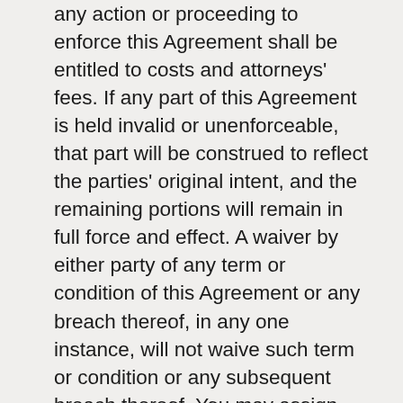any action or proceeding to enforce this Agreement shall be entitled to costs and attorneys' fees. If any part of this Agreement is held invalid or unenforceable, that part will be construed to reflect the parties' original intent, and the remaining portions will remain in full force and effect. A waiver by either party of any term or condition of this Agreement or any breach thereof, in any one instance, will not waive such term or condition or any subsequent breach thereof. You may assign your rights under this Agreement to any party that consents to, and agrees to be bound by, its terms and conditions; Magellan Billet may assign its rights under this Agreement without condition. This Agreement will be binding upon and will inure to the benefit of the parties, their successors and permitted assigns.